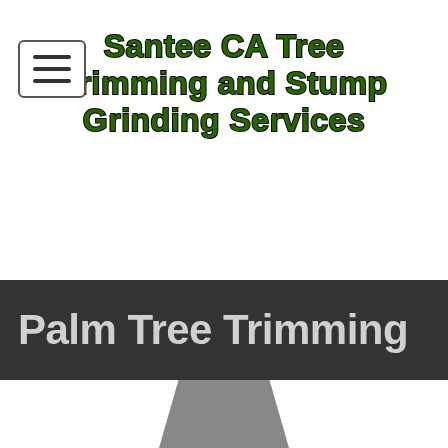Santee CA Tree Trimming and Stump Grinding Services
Palm Tree Trimming
[Figure (illustration): Partial view of a dark triangular shape at the bottom of the page, likely the top of a tree or decorative graphic element]